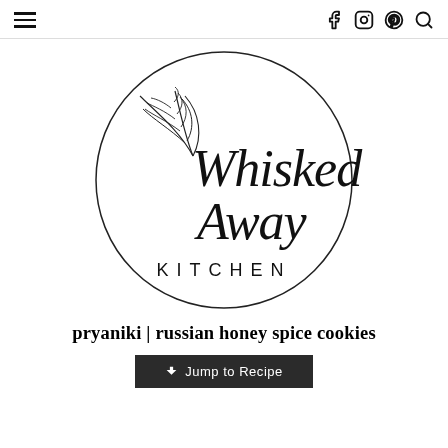Navigation bar with hamburger menu and social icons (Facebook, Instagram, Pinterest, Search)
[Figure (logo): Whisked Away Kitchen logo: a hand-drawn circle with a botanical leaf/branch illustration at the top left, cursive script text reading 'Whisked Away' in the center, and 'KITCHEN' in spaced capital letters below.]
pryaniki | russian honey spice cookies
Jump to Recipe